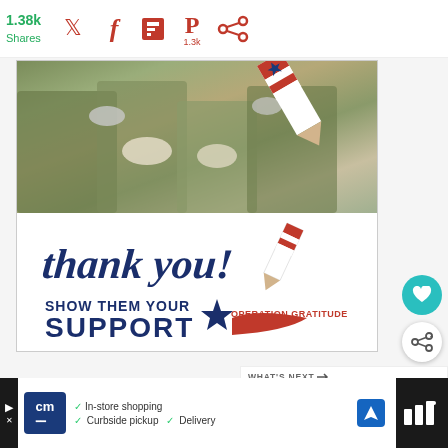[Figure (screenshot): Social sharing bar with 1.38k shares count in green, Twitter, Facebook, Flipboard, Pinterest (1.3k), and another share icon in dark red/maroon]
[Figure (illustration): Operation Gratitude promotional image: military personnel in background, 'thank you!' handwritten text with American flag pencil graphic, 'SHOW THEM YOUR SUPPORT' text and Operation Gratitude logo]
[Figure (screenshot): What's Next panel showing circular thumbnail of food dish, label 'WHAT'S NEXT →', and title 'Best Cannoli Dip']
[Figure (screenshot): Advertisement bar at bottom: Car Maintenance ad with CM logo, checkmarks for In-store shopping, Curbside pickup, Delivery, navigation icon, and app icon on dark background]